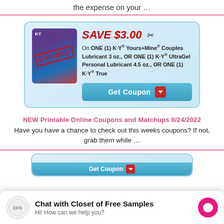the expense on your …
[Figure (infographic): Coupon for SAVE $3.00 on ONE (1) K·Y® Yours+Mine® Couples Lubricant 3 oz., OR ONE (1) K·Y® UltraGel Personal Lubricant 4.5 oz., OR ONE (1) K·Y® True. Stamped EXPIRED. Get Coupon button shown.]
NEW Printable Online Coupons and Matchups 8/24/2022
Have you have a chance to check out this weeks coupons? If not, grab them while …
[Figure (infographic): Partial coupon box showing Get Coupon button at bottom of page.]
Chat with Closet of Free Samples
Hi! How can we help you?